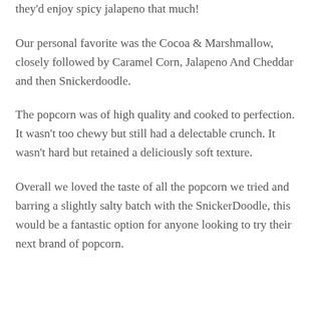they'd enjoy spicy jalapeno that much!
Our personal favorite was the Cocoa & Marshmallow, closely followed by Caramel Corn, Jalapeno And Cheddar and then Snickerdoodle.
The popcorn was of high quality and cooked to perfection. It wasn't too chewy but still had a delectable crunch. It wasn't hard but retained a deliciously soft texture.
Overall we loved the taste of all the popcorn we tried and barring a slightly salty batch with the SnickerDoodle, this would be a fantastic option for anyone looking to try their next brand of popcorn.